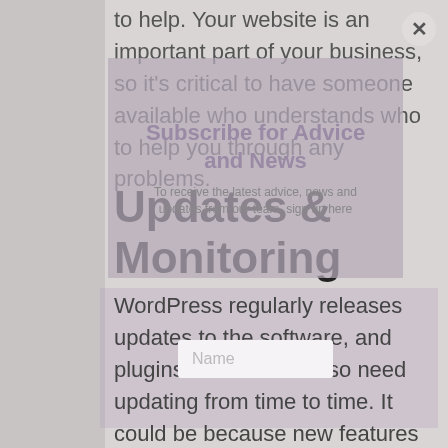to help. Your website is an important part of your business, so it's critical to have someone available who understands who to help you through any problems.
Updates & Monitoring
[Figure (screenshot): Modal popup overlay with title 'Subscribe for Advice and News' and subtitle 'To receive the latest advice, news and updates from our team, sign up here', with a Name input field]
WordPress regularly releases updates to the software, and plugins and themes also need updating from time to time. It could be because new features have been added, or because there is a security update necessary to install. EJC can either